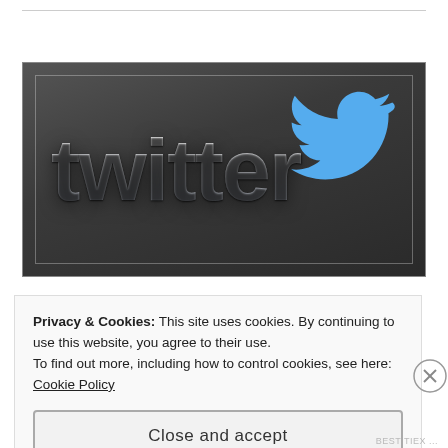[Figure (logo): Twitter logo on dark grey/charcoal background with inner thin white border. White stylized 'twitter' text in rounded bold font on left, cyan/light blue Twitter bird icon on right.]
Privacy & Cookies: This site uses cookies. By continuing to use this website, you agree to their use.
To find out more, including how to control cookies, see here: Cookie Policy
Close and accept